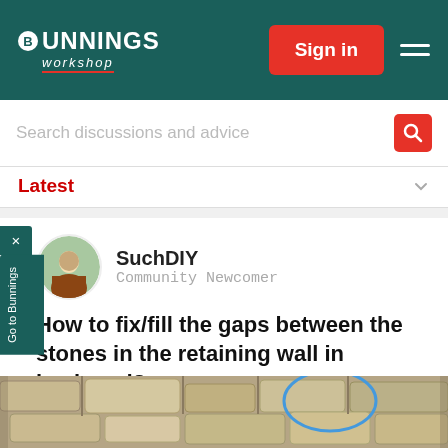[Figure (screenshot): Bunnings Workshop website header with teal background, logo, Sign in button, and hamburger menu]
Search discussions and advice
Latest
[Figure (photo): User avatar photo of SuchDIY]
SuchDIY
Community Newcomer
How to fix/fill the gaps between the stones in the retaining wall in backyard?
3 replies   3 minutes ago
Hi Experts, I am a newbie and haven't done an outdoor DIY as such. I have an issue with our retaining wall that holds the Garden and runs along 1 side ...
[Figure (photo): Photo of stone retaining wall with gaps, showing rocks and a blue circle highlighting an area of concern]